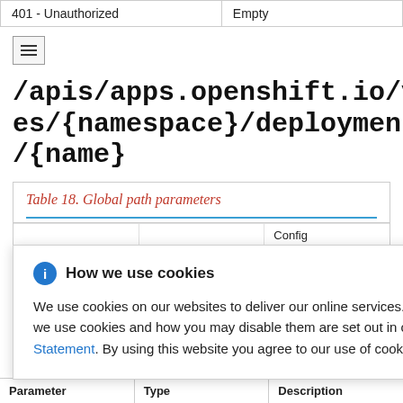|  |  |
| --- | --- |
| 401 - Unauthorized | Empty |
/apis/apps.openshift.io/v1/namespaces/{namespace}/deploymentconfigs/{name}
Table 18. Global path parameters
| Parameter | Type | Description |
| --- | --- | --- |
|  |  | Config |
|  |  | ope, such as for |
| Parameter | Type | Description |
How we use cookies

We use cookies on our websites to deliver our online services. Details about how we use cookies and how you may disable them are set out in our Privacy Statement. By using this website you agree to our use of cookies.